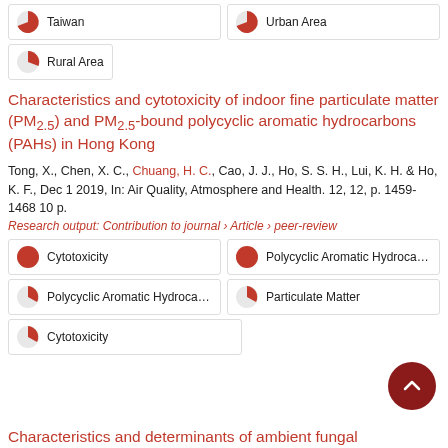Taiwan
Urban Area
Rural Area
Characteristics and cytotoxicity of indoor fine particulate matter (PM2.5) and PM2.5-bound polycyclic aromatic hydrocarbons (PAHs) in Hong Kong
Tong, X., Chen, X. C., Chuang, H. C., Cao, J. J., Ho, S. S. H., Lui, K. H. & Ho, K. F., Dec 1 2019, In: Air Quality, Atmosphere and Health. 12, 12, p. 1459-1468 10 p.
Research output: Contribution to journal › Article › peer-review
Cytotoxicity
Polycyclic Aromatic Hydrocarbc
Polycyclic Aromatic Hydrocarbc
Particulate Matter
Cytotoxicity
Characteristics and determinants of ambient fungal